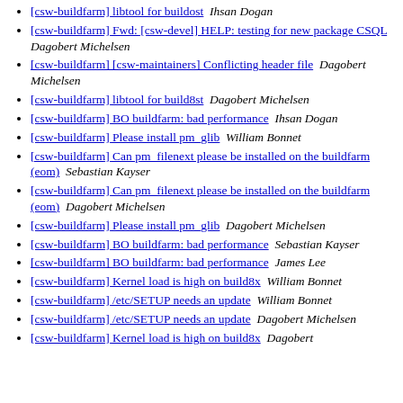[csw-buildfarm] libtool for buildost  Ihsan Dogan
[csw-buildfarm] Fwd: [csw-devel] HELP: testing for new package CSQL  Dagobert Michelsen
[csw-buildfarm] [csw-maintainers] Conflicting header file  Dagobert Michelsen
[csw-buildfarm] libtool for build8st  Dagobert Michelsen
[csw-buildfarm] BO buildfarm: bad performance  Ihsan Dogan
[csw-buildfarm] Please install pm_glib  William Bonnet
[csw-buildfarm] Can pm_filenext please be installed on the buildfarm (eom)  Sebastian Kayser
[csw-buildfarm] Can pm_filenext please be installed on the buildfarm (eom)  Dagobert Michelsen
[csw-buildfarm] Please install pm_glib  Dagobert Michelsen
[csw-buildfarm] BO buildfarm: bad performance  Sebastian Kayser
[csw-buildfarm] BO buildfarm: bad performance  James Lee
[csw-buildfarm] Kernel load is high on build8x  William Bonnet
[csw-buildfarm] /etc/SETUP needs an update  William Bonnet
[csw-buildfarm] /etc/SETUP needs an update  Dagobert Michelsen
[csw-buildfarm] Kernel load is high on build8x  Dagobert